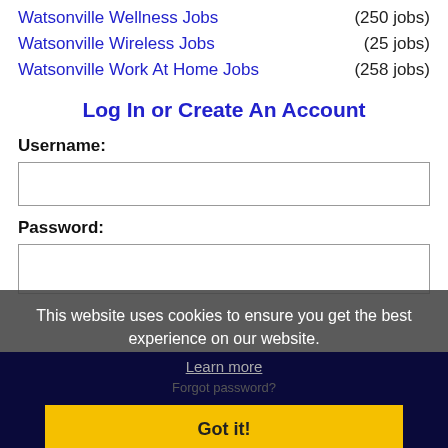Watsonville Wellness Jobs (250 jobs)
Watsonville Wireless Jobs (25 jobs)
Watsonville Work At Home Jobs (258 jobs)
Log In or Create An Account
Username:
Password:
This website uses cookies to ensure you get the best experience on our website.
Learn more
Forgot password?
Got it!
[Figure (logo): Facebook and LinkedIn logos]